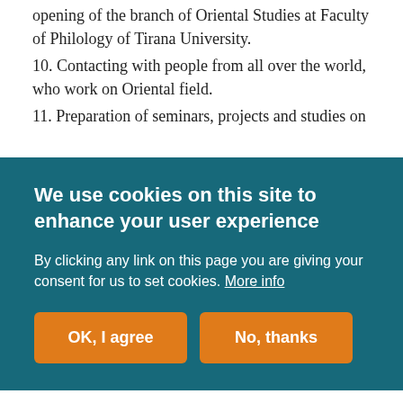opening of the branch of Oriental Studies at Faculty of Philology of Tirana University.
10. Contacting with people from all over the world, who work on Oriental field.
11. Preparation of seminars, projects and studies on
We use cookies on this site to enhance your user experience
By clicking any link on this page you are giving your consent for us to set cookies. More info
OK, I agree
No, thanks